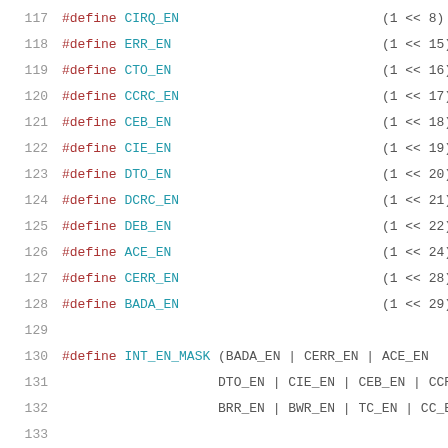117   #define CIRQ_EN                          (1 << 8)
118   #define ERR_EN                           (1 << 15)
119   #define CTO_EN                           (1 << 16)
120   #define CCRC_EN                          (1 << 17)
121   #define CEB_EN                           (1 << 18)
122   #define CIE_EN                           (1 << 19)
123   #define DTO_EN                           (1 << 20)
124   #define DCRC_EN                          (1 << 21)
125   #define DEB_EN                           (1 << 22)
126   #define ACE_EN                           (1 << 24)
127   #define CERR_EN                          (1 << 28)
128   #define BADA_EN                          (1 << 29)
129
130   #define INT_EN_MASK (BADA_EN | CERR_EN | ACE_EN
131                       DTO_EN | CIE_EN | CEB_EN | CCRC
132                       BRR_EN | BWR_EN | TC_EN | CC_EN
133
134   #define CNI         (1 << 7)
135   #define ACIE        (1 << 4)
136   #define ACEB        (1 << 3)
137   #define ACCE        (1 << 2)